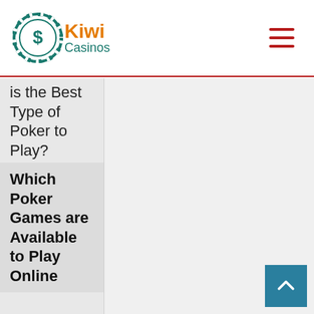Kiwi Casinos
is the Best Type of Poker to Play?
Which Poker Games are Available to Play Online